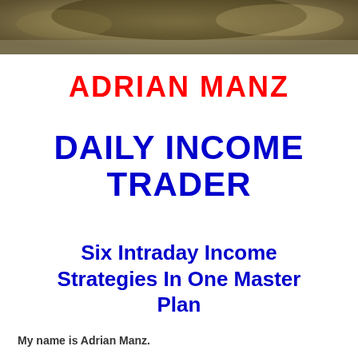[Figure (photo): Sepia-toned background photo at the top of the book cover, showing a blurred scene with dark and olive tones]
ADRIAN MANZ
DAILY INCOME TRADER
Six Intraday Income Strategies In One Master Plan
My name is Adrian Manz.